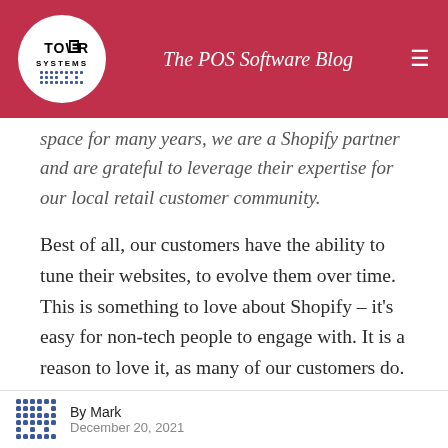The POS Software Blog
space for many years, we are a Shopify partner and are grateful to leverage their expertise for our local retail customer community.
Best of all, our customers have the ability to tune their websites, to evolve them over time. This is something to love about Shopify – it's easy for non-tech people to engage with. It is a reason to love it, as many of our customers do.
A Shopify site, like any website, is a hungry beast. By this we mean that it needs to be fed with new
By Mark
December 20, 2021